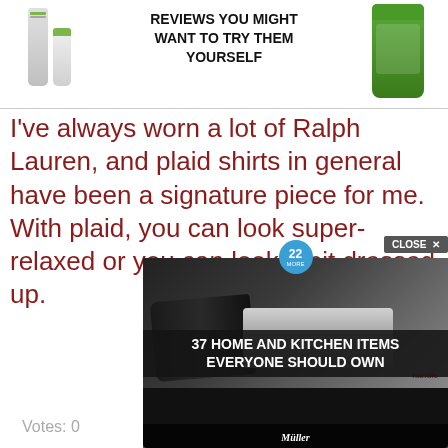[Figure (photo): Top banner showing skincare product tubes and text 'REVIEWS YOU MIGHT WANT TO TRY THEM YOURSELF']
I've always worn a lot of Ralph Lauren, and plaid shirts in general have been a signature piece for me. With plaid, you can look super-relaxed or you can look a bit dressed up.
Votes: 0
Avicii
My wife and I got to go onstage at a Flaming Lips concert at Webster Hall once. We dressed up like Scientology aliens and danced around. We had a shootout onstage with Santas.
Votes:
Hader
[Figure (photo): Overlay advertisement: '37 HOME AND KITCHEN ITEMS EVERYONE SHOULD OWN' with Mueller brand knife sharpener and CLOSE button]
My fa